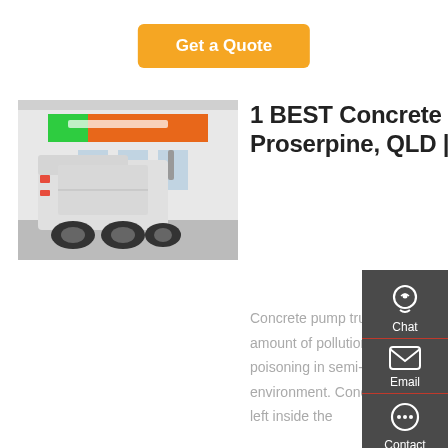Get a Quote
[Figure (photo): Rear view of a white semi-truck/heavy vehicle parked in front of a commercial building with orange and green signage reading 'SINOTRUK HOWO']
1 BEST Concrete Pumping In Proserpine, QLD | Yellow Pages®
Concrete pump trucks generally produce a significant amount of pollution, potentially causing carbon monoxide poisoning in semi-enclosed areas and impacting the environment. Concrete pumps almost always have concrete left inside the